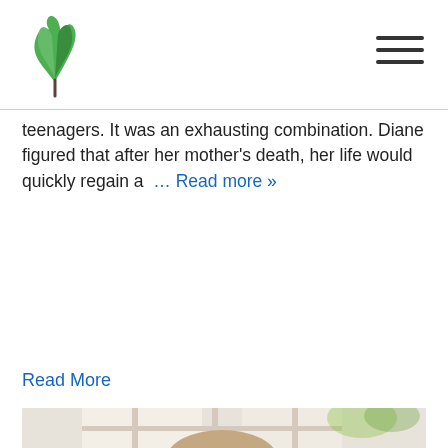teenagers. It was an exhausting combination. Diane figured that after her mother's death, her life would quickly regain a  … Read more »
Read More
[Figure (photo): A woman sitting near a bright window with trees visible outside; soft indoor light]